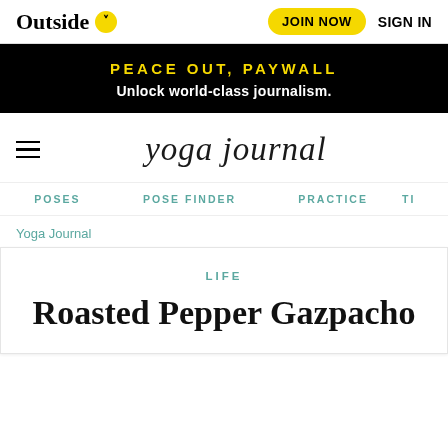Outside [logo with chevron] | JOIN NOW | SIGN IN
PEACE OUT, PAYWALL
Unlock world-class journalism.
yoga journal
POSES  POSE FINDER  PRACTICE  TI
Yoga Journal
LIFE
Roasted Pepper Gazpacho